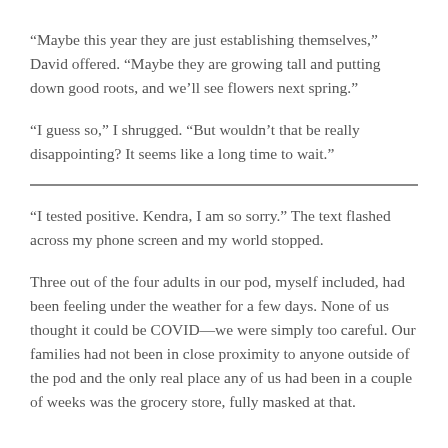“Maybe this year they are just establishing themselves,” David offered. “Maybe they are growing tall and putting down good roots, and we’ll see flowers next spring.”
“I guess so,” I shrugged. “But wouldn’t that be really disappointing? It seems like a long time to wait.”
“I tested positive. Kendra, I am so sorry.” The text flashed across my phone screen and my world stopped.
Three out of the four adults in our pod, myself included, had been feeling under the weather for a few days. None of us thought it could be COVID—we were simply too careful. Our families had not been in close proximity to anyone outside of the pod and the only real place any of us had been in a couple of weeks was the grocery store, fully masked at that.